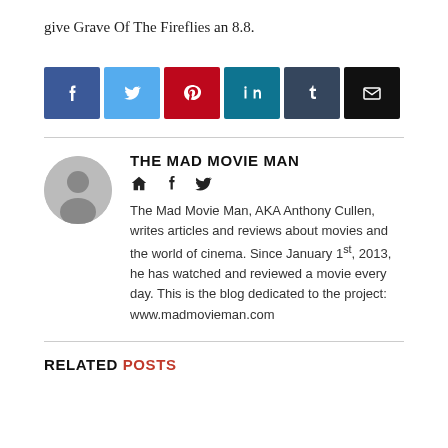give Grave Of The Fireflies an 8.8.
[Figure (infographic): Row of 6 social media share buttons: Facebook (blue), Twitter (light blue), Pinterest (red), LinkedIn (dark teal), Tumblr (dark slate), Email (black)]
THE MAD MOVIE MAN
[Figure (infographic): Author avatar placeholder (gray circle with silhouette) and three social icon links (home, facebook, twitter)]
The Mad Movie Man, AKA Anthony Cullen, writes articles and reviews about movies and the world of cinema. Since January 1st, 2013, he has watched and reviewed a movie every day. This is the blog dedicated to the project: www.madmovieman.com
RELATED POSTS